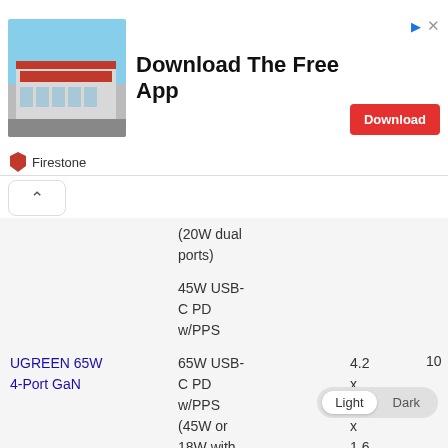[Figure (screenshot): Firestone advertisement banner with building photo, 'Download The Free App' headline, and a red Download button]
| Product | Output | Size | Rating |
| --- | --- | --- | --- |
|  | (20W dual ports) |  |  |
|  | 45W USB-C PD w/PPS |  |  |
| UGREEN 65W 4-Port GaN | 65W USB-C PD w/PPS (45W or 18W with other ports in use) | 4.2 x 4.2 x 1.6 in | 10 |
|  | 65W USB-C PD w/PPS (18W or ... |  |  |